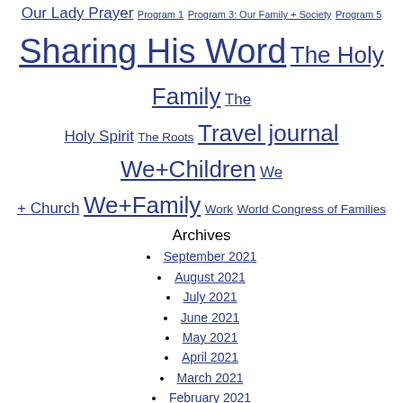Our Lady Prayer Program 1 Program 3: Our Family + Society Program 5 Sharing His Word The Holy Family The Holy Spirit The Roots Travel journal We+Children We + Church We+Family Work World Congress of Families
Archives
September 2021
August 2021
July 2021
June 2021
May 2021
April 2021
March 2021
February 2021
January 2021
December 2020
November 2020
October 2020
September 2020